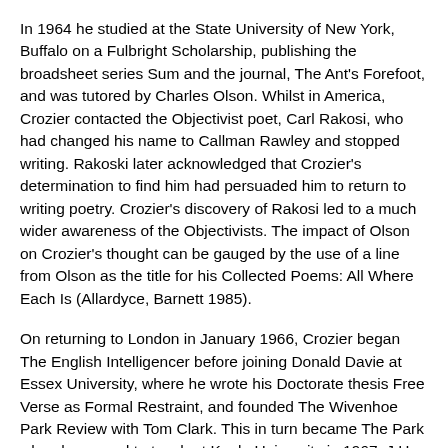In 1964 he studied at the State University of New York, Buffalo on a Fulbright Scholarship, publishing the broadsheet series Sum and the journal, The Ant's Forefoot, and was tutored by Charles Olson. Whilst in America, Crozier contacted the Objectivist poet, Carl Rakosi, who had changed his name to Callman Rawley and stopped writing. Rakoski later acknowledged that Crozier's determination to find him had persuaded him to return to writing poetry. Crozier's discovery of Rakosi led to a much wider awareness of the Objectivists. The impact of Olson on Crozier's thought can be gauged by the use of a line from Olson as the title for his Collected Poems: All Where Each Is (Allardyce, Barnett 1985).
On returning to London in January 1966, Crozier began The English Intelligencer before joining Donald Davie at Essex University, where he wrote his Doctorate thesis Free Verse as Formal Restraint, and founded The Wivenhoe Park Review with Tom Clark. This in turn became The Park when he moved to teach at Keele University in 1967. J.H. Prynne's introduction to Crozier's first book of poetry, Loved Litter of